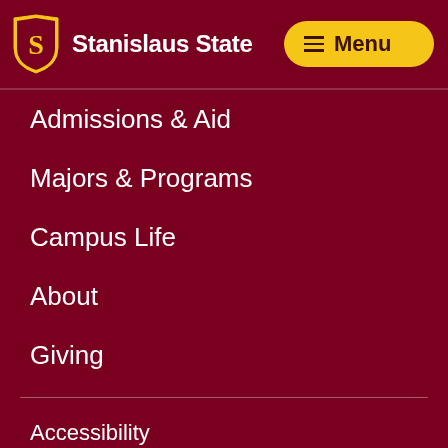Stanislaus State
Admissions & Aid
Majors & Programs
Campus Life
About
Giving
Accessibility
Annual Security Report